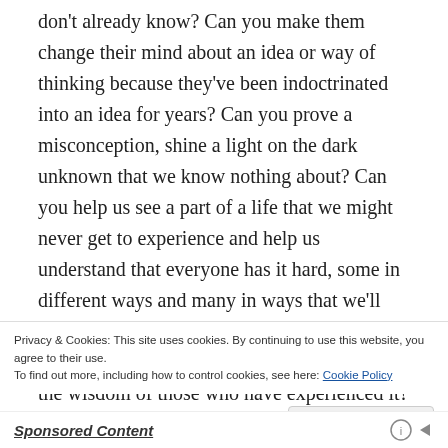don't already know? Can you make them change their mind about an idea or way of thinking because they've been indoctrinated into an idea for years? Can you prove a misconception, shine a light on the dark unknown that we know nothing about? Can you help us see a part of a life that we might never get to experience and help us understand that everyone has it hard, some in different ways and many in ways that we'll never be able to experience firsthand but maybe we can get a small understanding from the wisdom of those who have experienced it? I can think of a few things that can, but there's still many more
Privacy & Cookies: This site uses cookies. By continuing to use this website, you agree to their use.
To find out more, including how to control cookies, see here: Cookie Policy
Close and accept
Sponsored Content